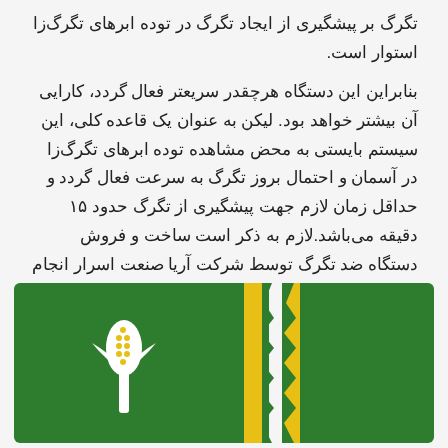تگرگ بر پیشگیری از ایجاد تگرگ در توده ابرهای تگرگ‌زا استوار است.
بنابراین این دستگاه هرچقدر سریعتر فعال گردد، کارایی آن بیشتر خواهد بود. لیکن به عنوان یک قاعده کلی، این سیستم بایستی به محض مشاهده توده ابرهای تگرگ‌زا در آسمان و احتمال بروز تگرگ به سرعت فعال گردد و حداقل زمان لازم جهت پیشگیری از تگرگ حدود ۱۵ دقیقه می‌باشد.لازم به ذکر است ساخت و فروش دستگاه ضد تگرگ توسط شرکت آریا صنعت اسرار انجام می‌گیرد
[Figure (logo): Green and yellow logo of Ariya Sanaat Asrar company, showing a stylized plant/wheat emblem on green background with yellow border, partially visible second logo to the right]